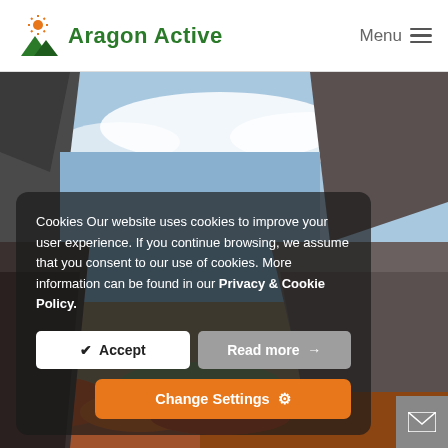[Figure (logo): Aragon Active logo with sun and mountain icons in green]
Aragon Active
Menu
[Figure (photo): Mountain canyon landscape with blue sky and autumn foliage]
Cookies Our website uses cookies to improve your user experience. If you continue browsing, we assume that you consent to our use of cookies. More information can be found in our Privacy & Cookie Policy.
✔  Accept
Read more →
Change Settings ⚙